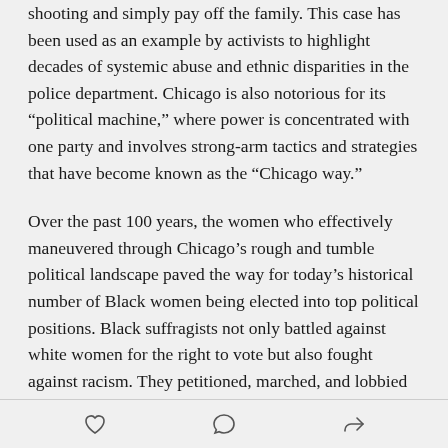shooting and simply pay off the family. This case has been used as an example by activists to highlight decades of systemic abuse and ethnic disparities in the police department. Chicago is also notorious for its “political machine,” where power is concentrated with one party and involves strong-arm tactics and strategies that have become known as the “Chicago way.”
Over the past 100 years, the women who effectively maneuvered through Chicago’s rough and tumble political landscape paved the way for today’s historical number of Black women being elected into top political positions. Black suffragists not only battled against white women for the right to vote but also fought against racism. They petitioned, marched, and lobbied local and national politicians so today’s Black women
[icons: heart, comment, share]